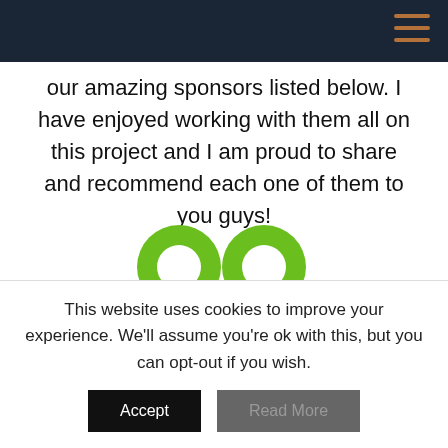our amazing sponsors listed below. I have enjoyed working with them all on this project and I am proud to share and recommend each one of them to you guys!
[Figure (logo): AO brand logo in bright green — two rounded letters 'a' and 'o' above a green smile arc with TM mark]
[Figure (logo): Maisons logo — white bold text on dark grey/black background rectangle]
[Figure (logo): DAVID text logo in large black serif-like letters]
This website uses cookies to improve your experience. We'll assume you're ok with this, but you can opt-out if you wish.